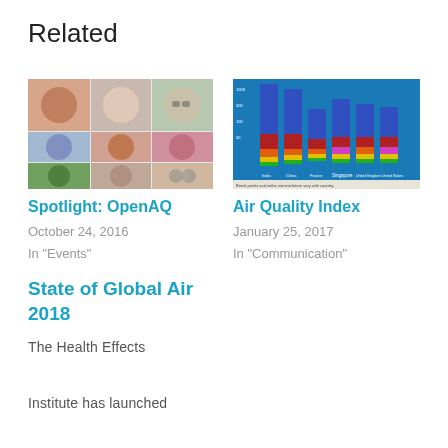Related
[Figure (photo): Photo collage of multiple people's faces]
Spotlight: OpenAQ
October 24, 2016
In "Events"
[Figure (bar-chart): Air Quality Index stacked bar chart comparing countries with colored bands for pollution levels]
Air Quality Index
January 25, 2017
In "Communication"
State of Global Air 2018
The Health Effects Institute has launched the State of Global Air 2018. More about the